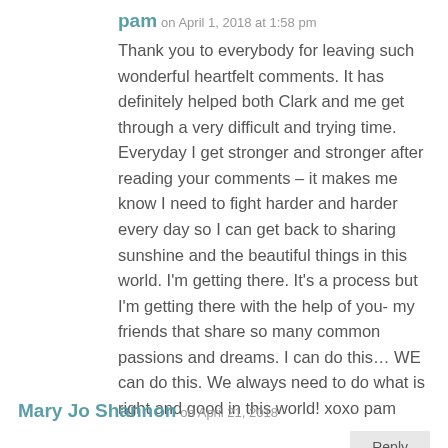pam on April 1, 2018 at 1:58 pm
Thank you to everybody for leaving such wonderful heartfelt comments. It has definitely helped both Clark and me get through a very difficult and trying time. Everyday I get stronger and stronger after reading your comments – it makes me know I need to fight harder and harder every day so I can get back to sharing sunshine and the beautiful things in this world. I'm getting there. It's a process but I'm getting there with the help of you- my friends that share so many common passions and dreams. I can do this… WE can do this. We always need to do what is right and good in this world! xoxo pam
Reply
Mary Jo Shannon on April 21, 2018